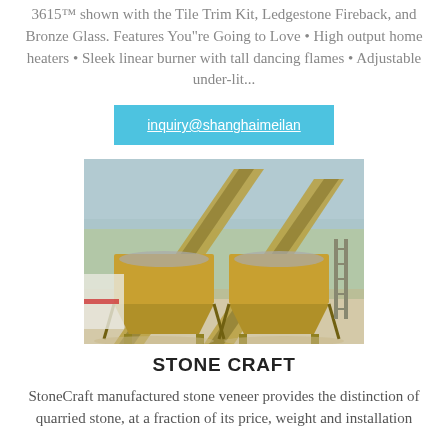3615™ shown with the Tile Trim Kit, Ledgestone Fireback, and Bronze Glass. Features You"re Going to Love • High output home heaters • Sleek linear burner with tall dancing flames • Adjustable under-lit...
inquiry@shanghaimeilan
[Figure (photo): Outdoor industrial aggregate/gravel processing equipment: two large yellow hopper/bin structures on supports, with conveyor belts running diagonally in the background. Gravel and construction site visible.]
STONE CRAFT
StoneCraft manufactured stone veneer provides the distinction of quarried stone, at a fraction of its price, weight and installation